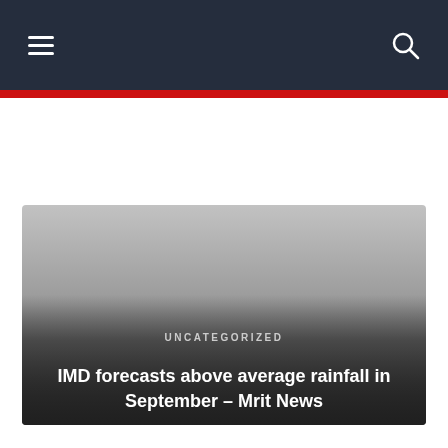Navigation bar with hamburger menu and search icon
[Figure (screenshot): News article card with dark gradient background showing a rainy/cloudy scene with category label UNCATEGORIZED and article title]
UNCATEGORIZED
IMD forecasts above average rainfall in September – Mrit News